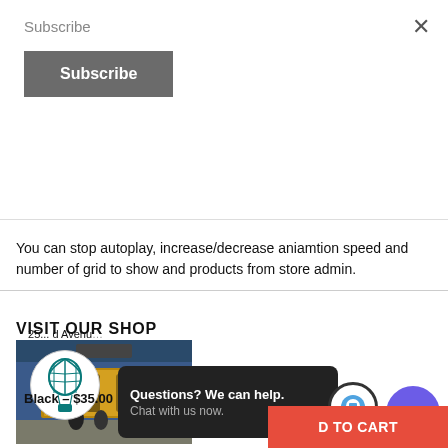Subscribe
Subscribe
You can stop autoplay, increase/decrease aniamtion speed and number of grid to show and products from store admin.
VISIT OUR SHOP
[Figure (photo): Storefront of a shop at night with blue exterior walls and lit window displays showing mannequins in clothing]
25... d Avenue
[Figure (logo): CorelDRAW hot air balloon logo in teal/dark teal]
Questions? We can help. Chat with us now.
Black – $35.00
ADD TO CART